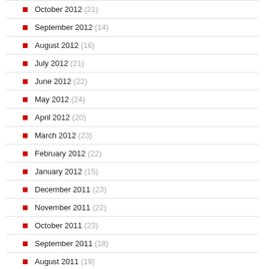October 2012 (21)
September 2012 (14)
August 2012 (16)
July 2012 (21)
June 2012 (22)
May 2012 (24)
April 2012 (20)
March 2012 (23)
February 2012 (22)
January 2012 (15)
December 2011 (23)
November 2011 (22)
October 2011 (23)
September 2011 (18)
August 2011 (19)